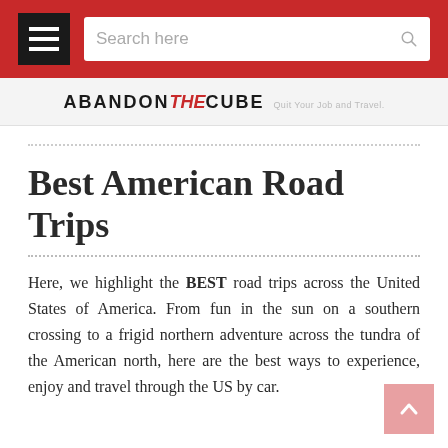Navigation bar with hamburger menu and search box
[Figure (logo): ABANDON THE CUBE logo with tagline 'Quit Your Job and Travel.']
Best American Road Trips
Here, we highlight the BEST road trips across the United States of America. From fun in the sun on a southern crossing to a frigid northern adventure across the tundra of the American north, here are the best ways to experience, enjoy and travel through the US by car.